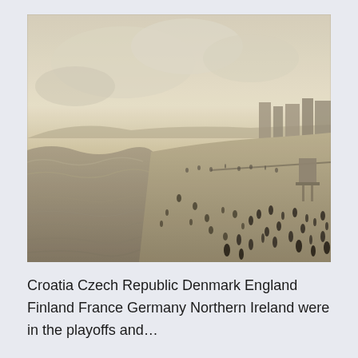[Figure (photo): Black and white sepia-toned aerial/elevated view of a busy beach with ocean waves on the left, many people scattered along the shoreline and in the water, with buildings visible in the background on the right side under a hazy overcast sky.]
Croatia Czech Republic Denmark England Finland France Germany Northern Ireland were in the playoffs and…